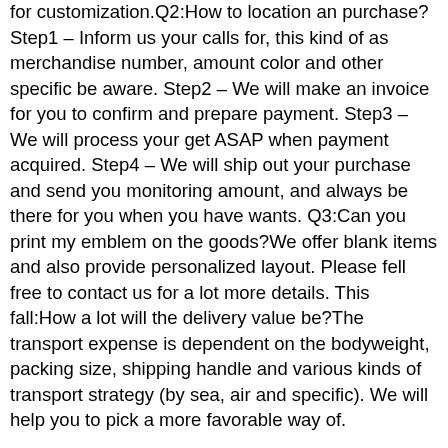immediate factory cost and high top quality products. You should truly feel free to speak to us for customization.Q2:How to location an purchase?Step1 – Inform us your calls for, this kind of as merchandise number, amount color and other specific be aware. Step2 – We will make an invoice for you to confirm and prepare payment. Step3 – We will process your get ASAP when payment acquired. Step4 – We will ship out your purchase and send you monitoring amount, and always be there for you when you have wants. Q3:Can you print my emblem on the goods?We offer blank items and also provide personalized layout. Please fell free to contact us for a lot more details. This fall:How a lot will the delivery value be?The transport expense is dependent on the bodyweight, packing size, shipping handle and various kinds of transport strategy (by sea, air and specific). We will help you to pick a more favorable way of.